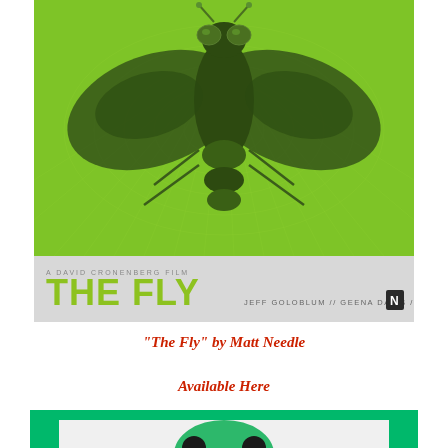[Figure (illustration): Movie poster for 'The Fly' directed by David Cronenberg. Green background with stylized fly illustration. Text reads 'A DAVID CRONENBERG FILM', 'THE FLY', 'JEFF GOLOBLUM // GEENA DAVIS // JOHN GETZ' with a logo N badge.]
“The Fly” by Matt Needle
Available Here
[Figure (illustration): Bottom portion of another poster with green background and white inner area showing the top of a circular green illustration.]